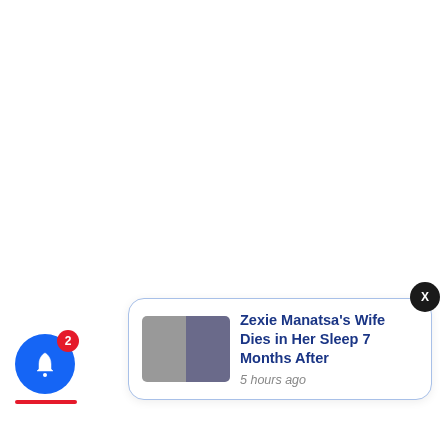[Figure (screenshot): A browser/app notification popup card with a close (X) button at top right. Contains two small photos (black-and-white and color) of people on the left, and headline text 'Zexie Manatsa's Wife Dies in Her Sleep 7 Months After' with timestamp '5 hours ago' on the right. Card has a blue border and rounded corners.]
[Figure (other): Blue circular bell notification icon with a red badge showing '2' in the bottom-left corner of the page, with a red bar underneath.]